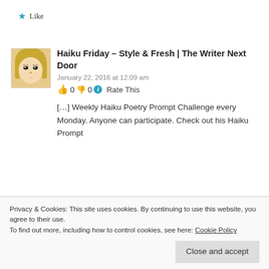★ Like
Haiku Friday – Style & Fresh | The Writer Next Door
January 22, 2016 at 12:09 am
👍 0 👎 0 ℹ Rate This
[…] Weekly Haiku Poetry Prompt Challenge every Monday. Anyone can participate. Check out his Haiku Prompt
Privacy & Cookies: This site uses cookies. By continuing to use this website, you agree to their use.
To find out more, including how to control cookies, see here: Cookie Policy
Close and accept